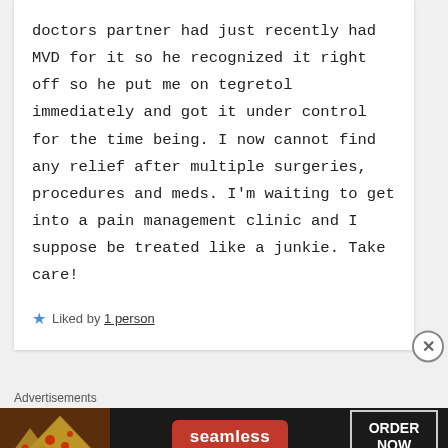doctors partner had just recently had MVD for it so he recognized it right off so he put me on tegretol immediately and got it under control for the time being. I now cannot find any relief after multiple surgeries, procedures and meds. I'm waiting to get into a pain management clinic and I suppose be treated like a junkie. Take care!
Liked by 1 person
Advertisements
[Figure (other): Seamless food delivery advertisement banner with pizza image on left, Seamless red logo in center, and ORDER NOW button on right, dark background.]